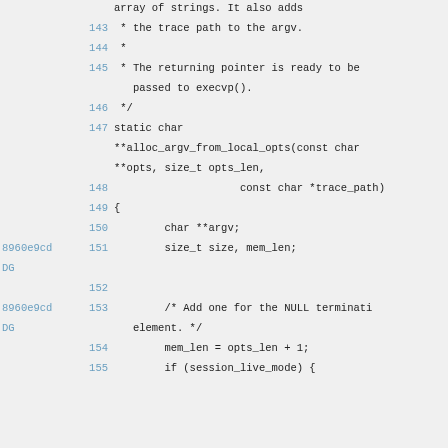Code listing lines 143-155, showing C source code with git blame annotations (8960e9cdDG) for lines 151 and 153.